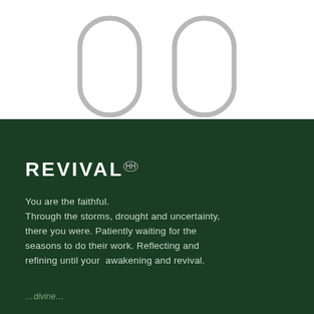[Figure (illustration): Two large rounded rectangle outlines (pill/capsule shapes) side by side, silver/light gray stroked outlines on white background, centered near top of page]
REVIVAL
You are the faithful. Through the storms, drought and uncertainty, there you were. Patiently waiting for the seasons to do their work. Reflecting and refining until your  awakening and revival.
…divine…